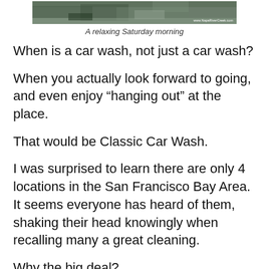[Figure (photo): A photo strip showing a relaxing outdoor/nature scene, possibly a river or creek setting with rocks, labeled with www.NapaRiverCreek.com]
A relaxing Saturday morning
When is a car wash, not just a car wash?
When you actually look forward to going, and even enjoy “hanging out” at the place.
That would be Classic Car Wash.
I was surprised to learn there are only 4 locations in the San Francisco Bay Area. It seems everyone has heard of them, shaking their head knowingly when recalling many a great cleaning.
Why the big deal?
A lot of car washes often disappoint, the cleaning...